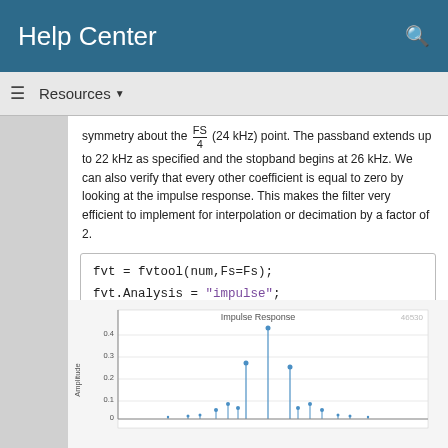Help Center
Resources
symmetry about the Fs/4 (24 kHz) point. The passband extends up to 22 kHz as specified and the stopband begins at 26 kHz. We can also verify that every other coefficient is equal to zero by looking at the impulse response. This makes the filter very efficient to implement for interpolation or decimation by a factor of 2.
fvt = fvtool(num,Fs=Fs);
fvt.Analysis = "impulse";
[Figure (continuous-plot): Impulse Response plot showing amplitude vs sample index with stem plot of filter coefficients. Most coefficients are zero, with a main peak near the center.]